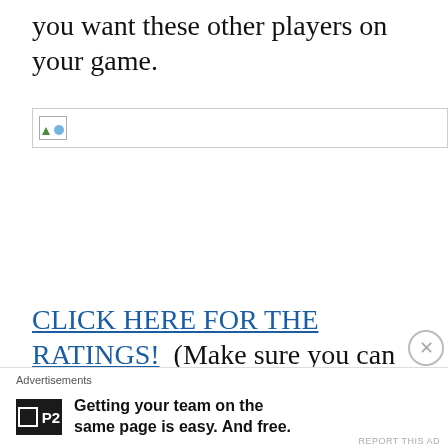you want these other players on your game.
[Figure (other): Broken/placeholder image icon with border]
CLICK HERE FOR THE RATINGS!  (Make sure you can open Excel files, as this is in spreadsheet form)
Advertisements
Getting your team on the same page is easy. And free.